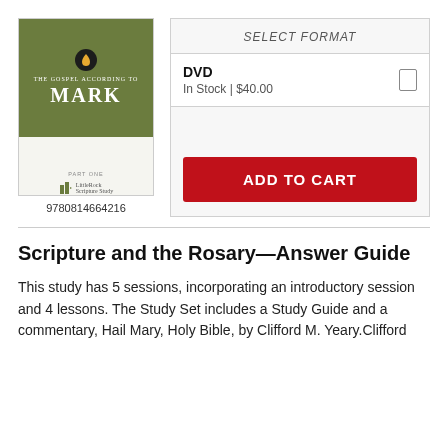[Figure (illustration): Book cover for 'The Gospel According to Mark, Part One' with olive green top half, flame logo, title in white serif font, and publisher logo on white bottom half]
9780814664216
SELECT FORMAT
DVD
In Stock | $40.00
ADD TO CART
Scripture and the Rosary—Answer Guide
This study has 5 sessions, incorporating an introductory session and 4 lessons. The Study Set includes a Study Guide and a commentary, Hail Mary, Holy Bible, by Clifford M. Yeary.Clifford